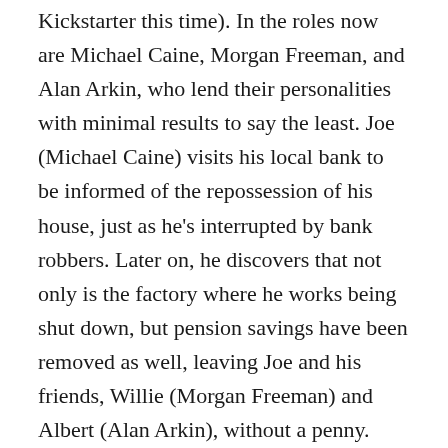Kickstarter this time). In the roles now are Michael Caine, Morgan Freeman, and Alan Arkin, who lend their personalities with minimal results to say the least. Joe (Michael Caine) visits his local bank to be informed of the repossession of his house, just as he's interrupted by bank robbers. Later on, he discovers that not only is the factory where he works being shut down, but pension savings have been removed as well, leaving Joe and his friends, Willie (Morgan Freeman) and Albert (Alan Arkin), without a penny. Partly out of frustration and partly out of adrenaline from the robbery, Joe makes the suggestion to rob the very banks robbing them, and soon the trio find themselves planning their own heist without any knowledge on how to pull it off.